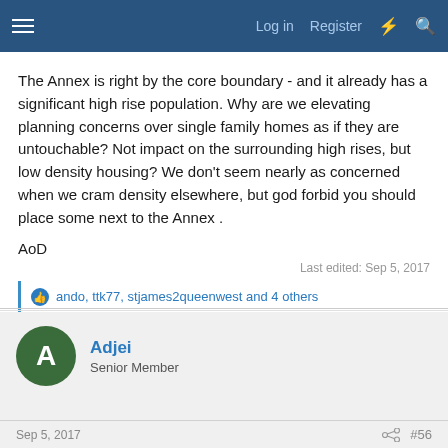Log in  Register
The Annex is right by the core boundary - and it already has a significant high rise population. Why are we elevating planning concerns over single family homes as if they are untouchable? Not impact on the surrounding high rises, but low density housing? We don't seem nearly as concerned when we cram density elsewhere, but god forbid you should place some next to the Annex .
AoD
Last edited: Sep 5, 2017
ando, ttk77, stjames2queenwest and 4 others
Adjei
Senior Member
Sep 5, 2017  #56